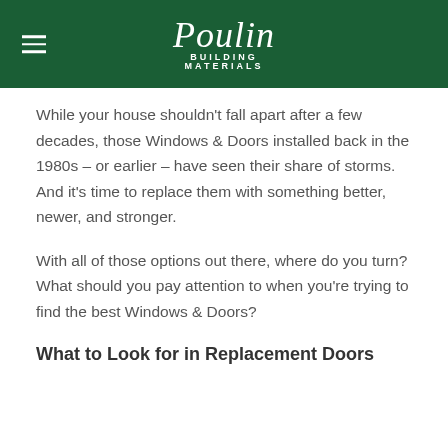Poulin Building Materials
While your house shouldn't fall apart after a few decades, those Windows & Doors installed back in the 1980s – or earlier – have seen their share of storms. And it's time to replace them with something better, newer, and stronger.
With all of those options out there, where do you turn?  What should you pay attention to when you're trying to find the best Windows & Doors?
What to Look for in Replacement Doors